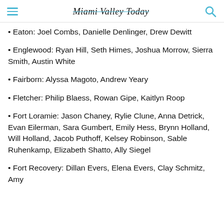Miami Valley Today
Eaton: Joel Combs, Danielle Denlinger, Drew Dewitt
Englewood: Ryan Hill, Seth Himes, Joshua Morrow, Sierra Smith, Austin White
Fairborn: Alyssa Magoto, Andrew Yeary
Fletcher: Philip Blaess, Rowan Gipe, Kaitlyn Roop
Fort Loramie: Jason Chaney, Rylie Clune, Anna Detrick, Evan Eilerman, Sara Gumbert, Emily Hess, Brynn Holland, Will Holland, Jacob Puthoff, Kelsey Robinson, Sable Ruhenkamp, Elizabeth Shatto, Ally Siegel
Fort Recovery: Dillan Evers, Elena Evers, Clay Schmitz, Amy